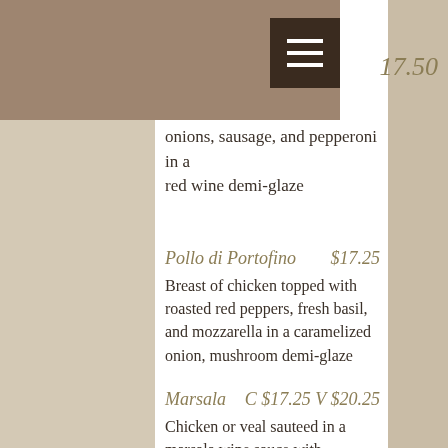[Navigation bar with hamburger menu and partial price $17.50]
onions, sausage, and pepperoni in a red wine demi-glaze
Pollo di Portofino   $17.25
Breast of chicken topped with roasted red peppers, fresh basil, and mozzarella in a caramelized onion, mushroom demi-glaze
Marsala   C $17.25 V $20.25
Chicken or veal sauteed in a marsala wine sauce with mushrooms
Scallopine di Pollo Rosemary   $17.25
Breast of chicken with shiitake mushrooms and nuts in rosemary